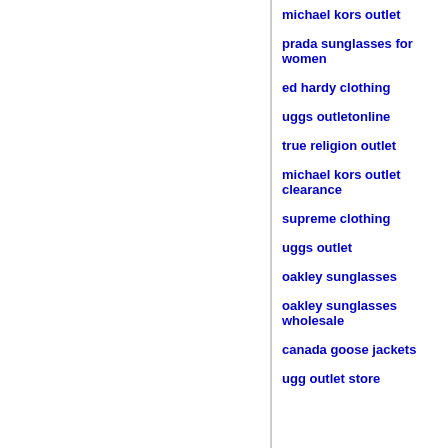michael kors outlet
prada sunglasses for women
ed hardy clothing
uggs outletonline
true religion outlet
michael kors outlet clearance
supreme clothing
uggs outlet
oakley sunglasses
oakley sunglasses wholesale
canada goose jackets
ugg outlet store